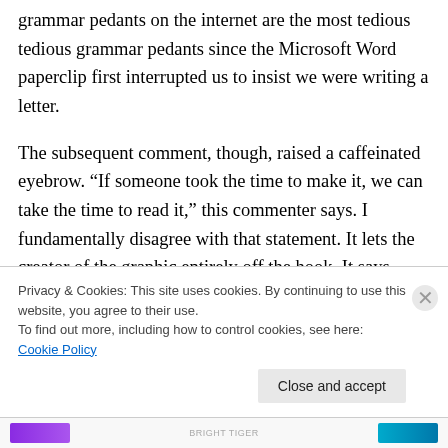grammar pedants on the internet are the most tedious tedious grammar pedants since the Microsoft Word paperclip first interrupted us to insist we were writing a letter.
The subsequent comment, though, raised a caffeinated eyebrow. “If someone took the time to make it, we can take the time to read it,” this commenter says. I fundamentally disagree with that statement. It lets the creator of the graphic entirely off the hook. It says, effectively, design doesn’t matter to understanding. It says,
Privacy & Cookies: This site uses cookies. By continuing to use this website, you agree to their use.
To find out more, including how to control cookies, see here: Cookie Policy
Close and accept